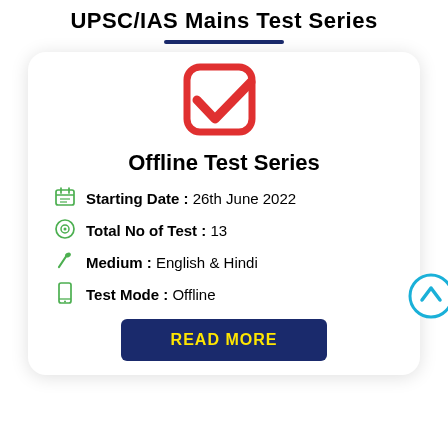UPSC/IAS Mains Test Series
[Figure (illustration): Red checkbox checkmark icon inside a rounded square]
Offline Test Series
Starting Date : 26th June 2022
Total No of Test : 13
Medium : English & Hindi
Test Mode : Offline
READ MORE